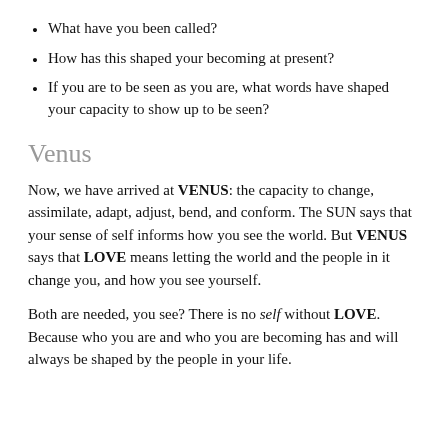What have you been called?
How has this shaped your becoming at present?
If you are to be seen as you are, what words have shaped your capacity to show up to be seen?
Venus
Now, we have arrived at VENUS: the capacity to change, assimilate, adapt, adjust, bend, and conform. The SUN says that your sense of self informs how you see the world. But VENUS says that LOVE means letting the world and the people in it change you, and how you see yourself.
Both are needed, you see? There is no self without LOVE. Because who you are and who you are becoming has and will always be shaped by the people in your life.